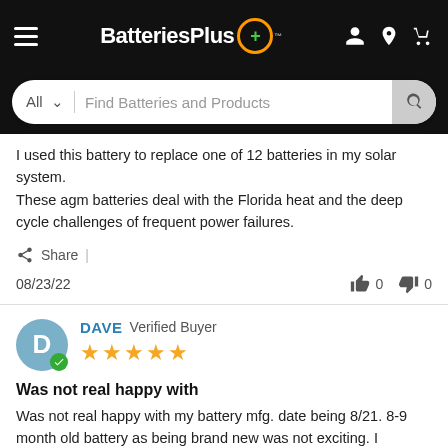BatteriesPlus
I used this battery to replace one of 12 batteries in my solar system.
These agm batteries deal with the Florida heat and the deep cycle challenges of frequent power failures.
Share |
08/23/22  👍 0  👎 0
DAVE Verified Buyer
★★★★★
Was not happy with
Was not real happy with my battery mfg. date being 8/21. 8-9 month old battery as being brand new was not exciting. I understand that batteries are made in batches but that is really stretching things.